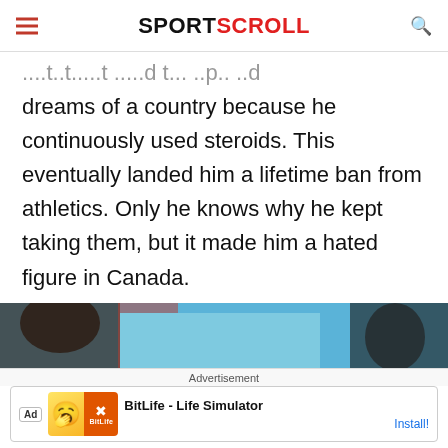SPORTSCROLL
...how it destroyed the hopes and dreams of a country because he continuously used steroids. This eventually landed him a lifetime ban from athletics. Only he knows why he kept taking them, but it made him a hated figure in Canada.
[Figure (photo): Partial photo of athlete(s) visible at bottom of article]
Advertisement
[Figure (screenshot): Ad banner for BitLife - Life Simulator with Install button]